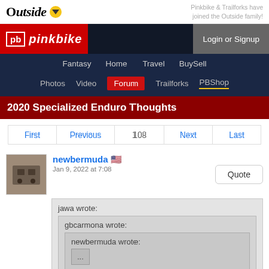Outside | Pinkbike & Trailforks have joined the Outside family!
[Figure (logo): Outside logo and Pinkbike header with Login or Signup button]
Fantasy  Home  Travel  BuySell  Photos  Video  Forum  Trailforks  PBShop
2020 Specialized Enduro Thoughts
First  Previous  108  Next  Last
newbermuda 🇺🇸
Jan 9, 2022 at 7:08
Quote
jawa wrote:
  gbcarmona wrote:
    newbermuda wrote:
      ...